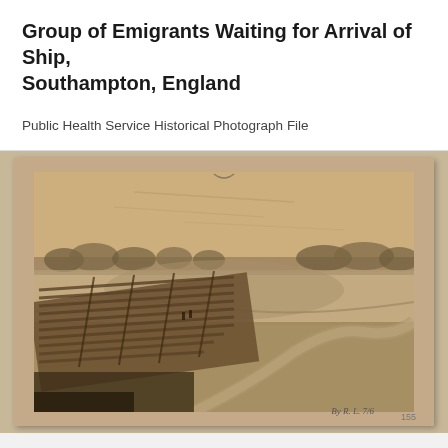Group of Emigrants Waiting for Arrival of Ship, Southampton, England
Public Health Service Historical Photograph File
[Figure (photo): Sepia-toned historical photograph mounted on card stock showing a riverside or waterway scene with a wooden bridge or fortification structure in the foreground, trees along the horizon, and a body of water in the middle ground. Handwritten annotation appears at the bottom right of the mount reading 'By R. L. 7/6' and a number '155' at the bottom right corner.]